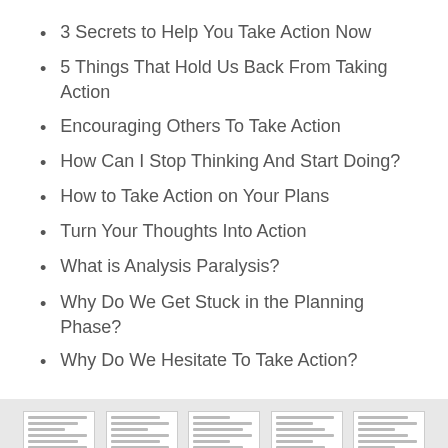3 Secrets to Help You Take Action Now
5 Things That Hold Us Back From Taking Action
Encouraging Others To Take Action
How Can I Stop Thinking And Start Doing?
How to Take Action on Your Plans
Turn Your Thoughts Into Action
What is Analysis Paralysis?
Why Do We Get Stuck in the Planning Phase?
Why Do We Hesitate To Take Action?
[Figure (screenshot): Grid of 10 document page thumbnails arranged in 2 rows of 5, numbered 1 through 5 on top row and 6 through 10 (partial) on bottom row, on a light grey background.]